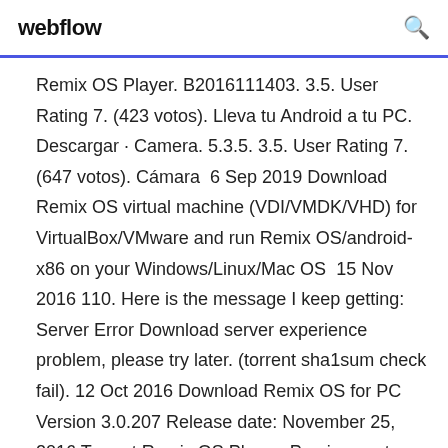webflow
Remix OS Player. B2016111403. 3.5. User Rating 7. (423 votos). Lleva tu Android a tu PC. Descargar · Camera. 5.3.5. 3.5. User Rating 7. (647 votos). Cámara  6 Sep 2019 Download Remix OS virtual machine (VDI/VMDK/VHD) for VirtualBox/VMware and run Remix OS/android-x86 on your Windows/Linux/Mac OS  15 Nov 2016 110. Here is the message I keep getting: Server Error Download server experience problem, please try later. (torrent sha1sum check fail). 12 Oct 2016 Download Remix OS for PC Version 3.0.207 Release date: November 25, 2016 Torrent Remix OS Player  Precisamente en